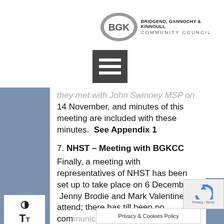[Figure (logo): BGK logo with text: BRIDGEND, GANNOCHY & KINNOULL COMMUNITY COUNCIL]
[Figure (other): Dark grey hamburger/menu icon with three horizontal white bars]
they met with John Swinney MSP on 14 November, and minutes of this meeting are included with these minutes.  See Appendix 1
7. NHST – Meeting with BGKCC
Finally, a meeting with representatives of NHST has been set up to take place on 6 December: Jenny Brodie and Mark Valentine will attend; there has till been no communication from Mark Anderson of
Privacy & Cookies Policy